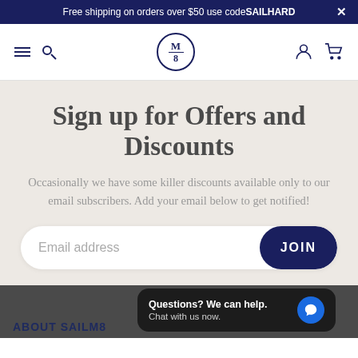Free shipping on orders over $50 use code SAILHARD  ×
[Figure (screenshot): Navigation bar with hamburger menu, search icon, M/8 logo in circle, user icon, and cart icon]
Sign up for Offers and Discounts
Occasionally we have some killer discounts available only to our email subscribers. Add your email below to get notified!
Email address  JOIN
Questions? We can help.
Chat with us now.
ABOUT SAILM8